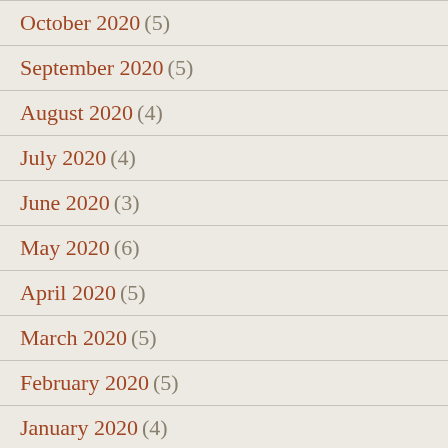October 2020 (5)
September 2020 (5)
August 2020 (4)
July 2020 (4)
June 2020 (3)
May 2020 (6)
April 2020 (5)
March 2020 (5)
February 2020 (5)
January 2020 (4)
December 2019 (5)